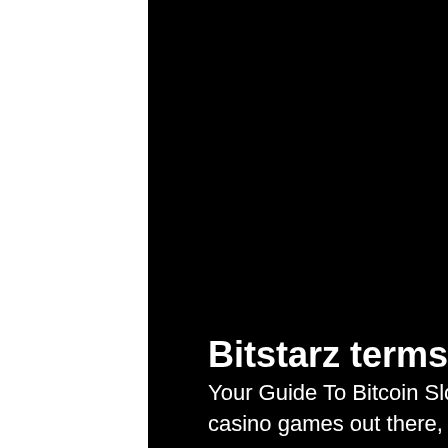[Figure (photo): Dark background image of a dimly lit room scene with shelves and a clay pot visible on the right side. A white strip appears on the far left edge. The center is predominantly black.]
Bitstarz terms
Your Guide To Bitcoin Slots. With such a vast selection of casino games out there, you to